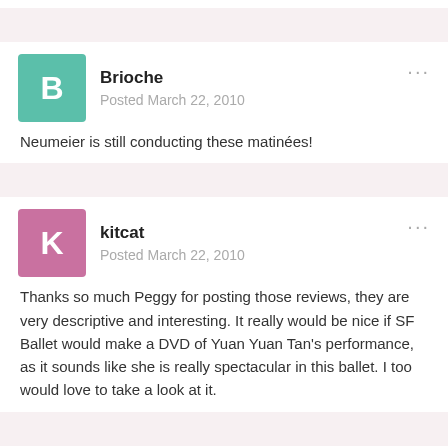Brioche
Posted March 22, 2010
Neumeier is still conducting these matinées!
kitcat
Posted March 22, 2010
Thanks so much Peggy for posting those reviews, they are very descriptive and interesting. It really would be nice if SF Ballet would make a DVD of Yuan Yuan Tan's performance, as it sounds like she is really spectacular in this ballet. I too would love to take a look at it.
Paul Parish
Posted March 22, 2010